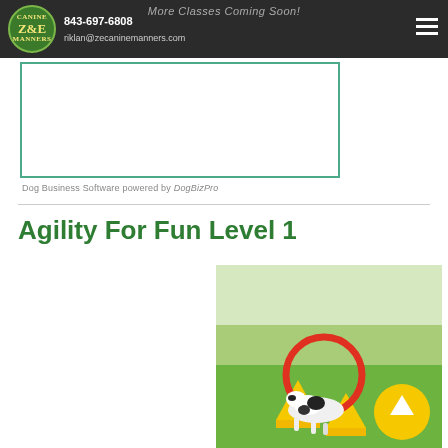More Classes Coming Soon!
843-697-6808
riklan@zecaninemanners.com
[Figure (other): Z&E Canine Manners circular green logo]
[Figure (other): Embedded white content box (DogBizPro widget area) with teal border]
Dog Business Software powered by DogBizPro
Agility For Fun Level 1
[Figure (photo): Dog jumping through a red hoop mounted on yellow cones on a grass field at a dog agility course. A yellow circular back-to-top button is overlaid in the bottom-right corner of the image.]